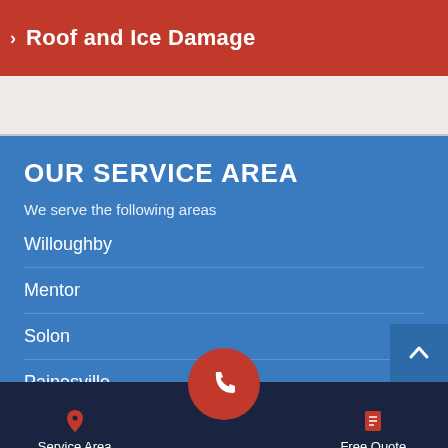> Roof and Ice Damage
OUR SERVICE AREA
We serve the following areas
Willoughby
Mentor
Solon
Painesville
Service Area    Free Quote